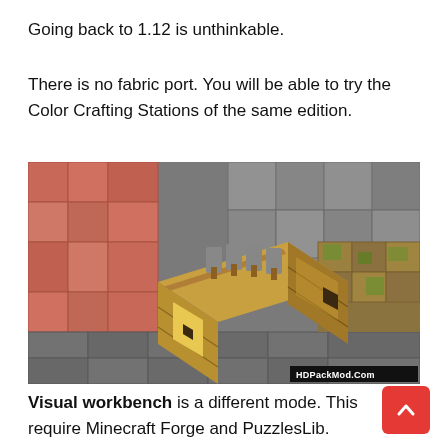Going back to 1.12 is unthinkable.
There is no fabric port. You will be able to try the Color Crafting Stations of the same edition.
[Figure (screenshot): Minecraft screenshot showing a crafting workbench block in a cave/room environment with stone walls, dirt/gravel floor, and foliage. A watermark reads HDPackMod.Com in the bottom-right corner.]
Visual workbench is a different mode. This require Minecraft Forge and PuzzlesLib.